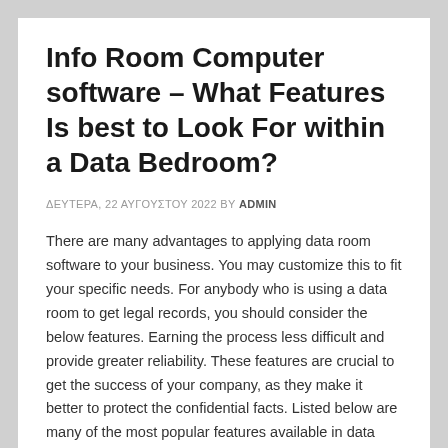Info Room Computer software – What Features Is best to Look For within a Data Bedroom?
ΔΕΥΤΕΡΑ, 22 ΑΥΓΟΥΣΤΟΥ 2022 BY ADMIN
There are many advantages to applying data room software to your business. You may customize this to fit your specific needs. For anybody who is using a data room to get legal records, you should consider the below features. Earning the process less difficult and provide greater reliability. These features are crucial to get the success of your company, as they make it better to protect the confidential facts. Listed below are many of the most popular features available in data room program. Each an